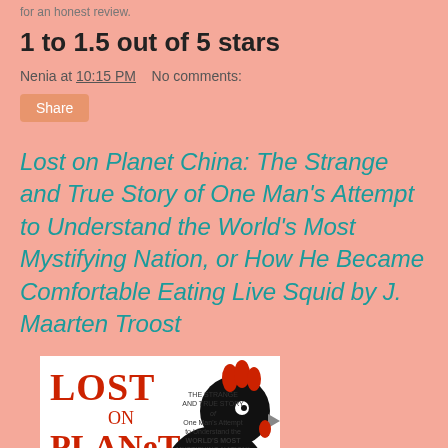for an honest review.
1 to 1.5 out of 5 stars
Nenia at 10:15 PM    No comments:
Share
Lost on Planet China: The Strange and True Story of One Man's Attempt to Understand the World's Most Mystifying Nation, or How He Became Comfortable Eating Live Squid by J. Maarten Troost
[Figure (photo): Book cover of 'Lost on Planet China' by J. Maarten Troost, showing red text on white background with a black silhouette of a chicken/rooster with a red comb on the right side.]